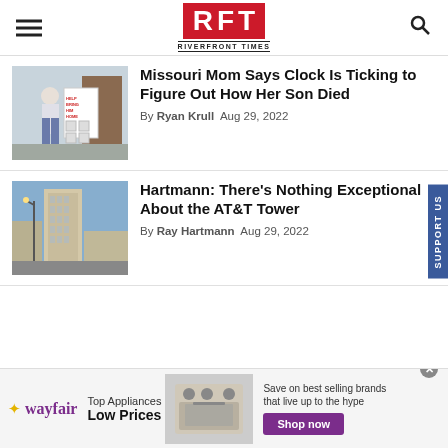RFT RIVERFRONT TIMES
Missouri Mom Says Clock Is Ticking to Figure Out How Her Son Died
By Ryan Krull  Aug 29, 2022
[Figure (photo): Woman standing outside next to a poster board with photos and text reading HELP BRING HIM HOME]
Hartmann: There's Nothing Exceptional About the AT&T Tower
By Ray Hartmann  Aug 29, 2022
[Figure (photo): Tall urban skyscraper (AT&T Tower) against blue sky with street lamp in foreground]
[Figure (infographic): Wayfair advertisement: Top Appliances Low Prices, Save on best selling brands that live up to the hype, Shop now button]